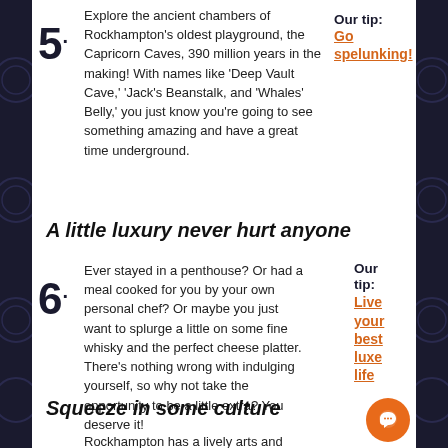5. Explore the ancient chambers of Rockhampton's oldest playground, the Capricorn Caves, 390 million years in the making! With names like 'Deep Vault Cave,' 'Jack's Beanstalk, and 'Whales' Belly,' you just know you're going to see something amazing and have a great time underground. Our tip: Go spelunking!
A little luxury never hurt anyone
6. Ever stayed in a penthouse? Or had a meal cooked for you by your own personal chef? Or maybe you just want to splurge a little on some fine whisky and the perfect cheese platter. There's nothing wrong with indulging yourself, so why not take the opportunity to be a little extra? You deserve it! Our tip: Live your best luxe life
Squeeze in some culture
Rockhampton has a lively arts and culture scene